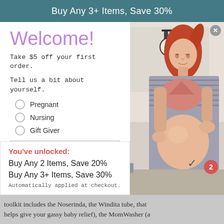Buy Any 3+ Items, Save 30%
Welcome!
Take $5 off your first order.
Tell us a bit about yourself.
Pregnant
Nursing
Gift Giver
Enter your email address
Baby's Due Date
You've unlocked:
Buy Any 2 Items, Save 20%
Buy Any 3+ Items, Save 30%
Automatically applied at checkout.
[Figure (photo): Pregnant woman with red hair in a pink bra and grey cardigan, looking down at her belly in a bathroom setting.]
toolkit includes the Noserinda, the Windita tube, that helps give your gassy baby relief), the MomWasher (a